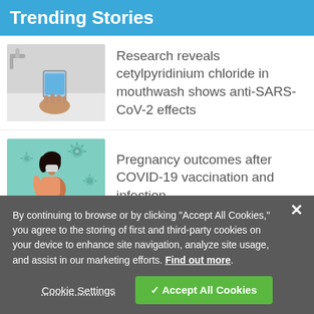Trending Stories
[Figure (photo): Hand holding a small cup with blue liquid (mouthwash) near a sink]
Research reveals cetylpyridinium chloride in mouthwash shows anti-SARS-CoV-2 effects
[Figure (illustration): Illustration of a pregnant woman wearing a face mask on a teal background with virus particles]
Pregnancy outcomes after COVID-19 vaccination and infection
By continuing to browse or by clicking "Accept All Cookies," you agree to the storing of first and third-party cookies on your device to enhance site navigation, analyze site usage, and assist in our marketing efforts. Find out more.
Cookie Settings
✓ Accept All Cookies